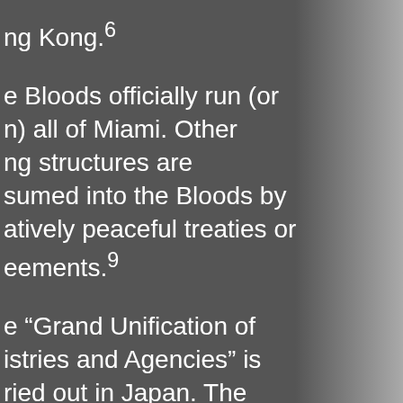ng Kong.6
e Bloods officially run (or n) all of Miami. Other ng structures are sumed into the Bloods by atively peaceful treaties or eements.9
e “Grand Unification of istries and Agencies” is ried out in Japan. The tical influence of Arasaka l right wing parties eases.6
e beginning of the ergency Welfare ocation Program in the . The program is